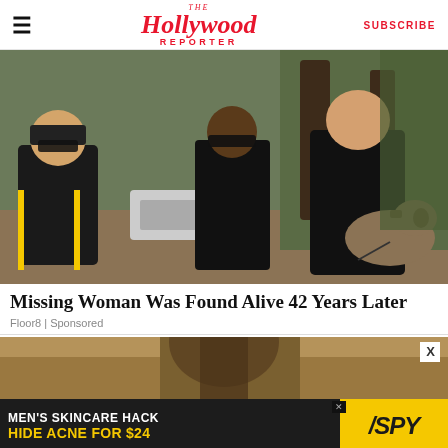The Hollywood Reporter | SUBSCRIBE
[Figure (photo): Three police officers in black uniforms standing outdoors near trees and bushes, with a German Shepherd dog at the right side on a leash.]
Missing Woman Was Found Alive 42 Years Later
Floor8 | Sponsored
[Figure (photo): Partial view of a person wearing a hat in a sandy/earthy outdoor setting, partially visible at bottom of page.]
[Figure (other): Advertisement banner: MEN'S SKINCARE HACK HIDE ACNE FOR $24 with SPY logo in yellow and black.]